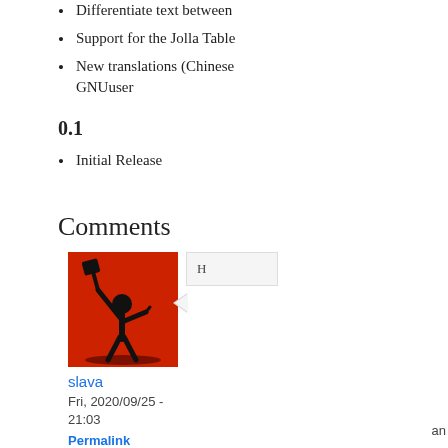Differentiate text between
Support for the Jolla Table
New translations (Chinese GNUuser
0.1
Initial Release
Comments
[Figure (photo): Red background silhouette image of a person holding a shovel above their head, used as a user avatar]
H
slava
Fri, 2020/09/25 - 21:03
Permalink
an